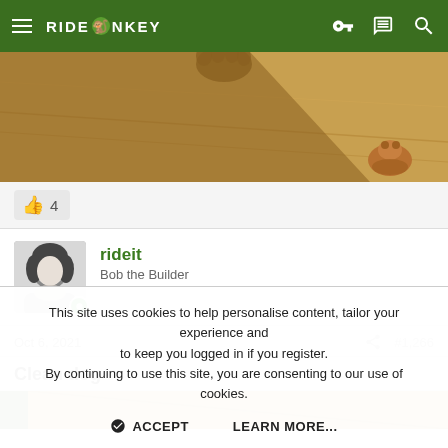RIDEMONKEY
[Figure (photo): Top-down photo of a wooden floor with shadows and a small animal or toy visible in the bottom right corner]
👍 4
rideit
Bob the Builder
Oct 6, 2021  #1,266
Clean dog
[Figure (photo): Partial photo visible at bottom of post area]
This site uses cookies to help personalise content, tailor your experience and to keep you logged in if you register.
By continuing to use this site, you are consenting to our use of cookies.

ACCEPT   LEARN MORE...